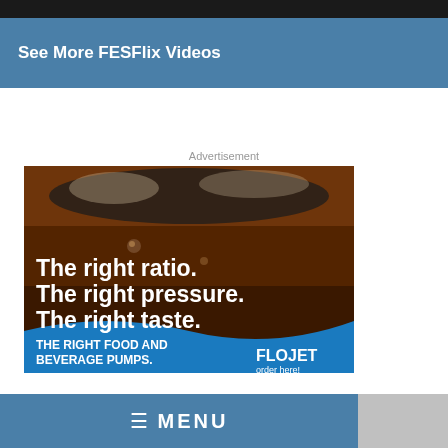[Figure (screenshot): Dark video thumbnail strip at the very top of the page]
See More FESFlix Videos
Advertisement
[Figure (photo): Flojet food and beverage pumps advertisement showing a close-up of a carbonated drink with ice. Text reads: The right ratio. The right pressure. The right taste. THE RIGHT FOOD AND BEVERAGE PUMPS. FLOJET order here!]
MENU